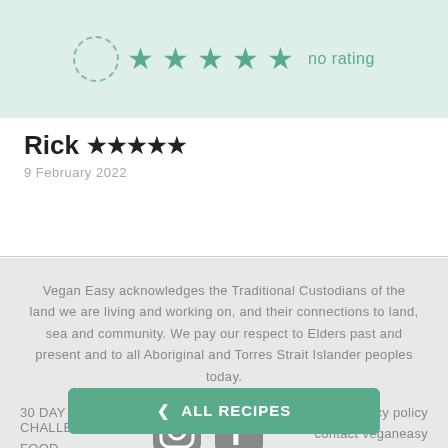[Figure (other): Rating widget with dashed circle placeholder and 5 green stars, with text 'no rating']
Rick ★★★★★
9 February 2022
Vegan Easy acknowledges the Traditional Custodians of the land we are living and working on, and their connections to land, sea and community. We pay our respect to Elders past and present and to all Aboriginal and Torres Strait Islander peoples today.
30 DAY CHALLENGE
[Figure (logo): Instagram icon]
[Figure (logo): Facebook icon]
privacy policy
contact veganeasy
FOOD
DONATE
ALL RECIPES